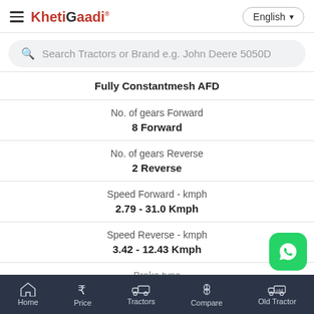KhetiGaadi | English
Search Tractors or Brand e.g. John Deere 5050D
Fully Constantmesh AFD
No. of gears Forward
8 Forward
No. of gears Reverse
2 Reverse
Speed Forward - kmph
2.79 - 31.0 Kmph
Speed Reverse - kmph
3.42 - 12.43 Kmph
Brake type
Home | Price | Tractors | Compare | Old Tractor